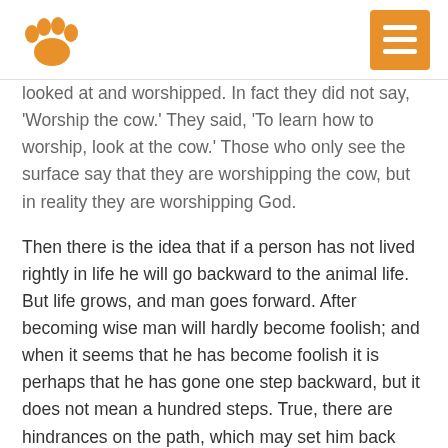[Paw logo] [Menu button]
looked at and worshipped. In fact they did not say, 'Worship the cow.' They said, 'To learn how to worship, look at the cow.' Those who only see the surface say that they are worshipping the cow, but in reality they are worshipping God.
Then there is the idea that if a person has not lived rightly in life he will go backward to the animal life. But life grows, and man goes forward. After becoming wise man will hardly become foolish; and when it seems that he has become foolish it is perhaps that he has gone one step backward, but it does not mean a hundred steps. True, there are hindrances on the path, which may set him back two or three steps; but then he takes two or three steps forward again. In those ancient times, however, the priesthood